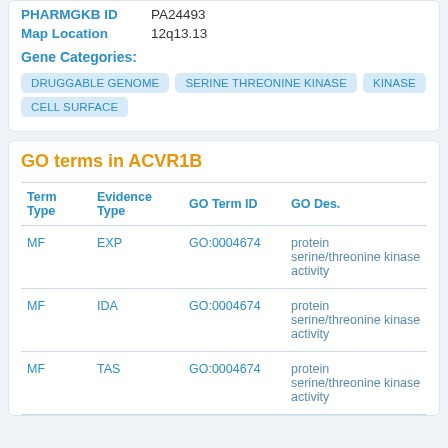| PHARMGKB ID | PA24493 |
| Map Location | 12q13.13 |
Gene Categories:
DRUGGABLE GENOME
SERINE THREONINE KINASE
KINASE
CELL SURFACE
GO terms in ACVR1B
| Term Type | Evidence Type | GO Term ID | GO Des. |
| --- | --- | --- | --- |
| MF | EXP | GO:0004674 | protein serine/threonine kinase activity |
| MF | IDA | GO:0004674 | protein serine/threonine kinase activity |
| MF | TAS | GO:0004674 | protein serine/threonine kinase activity |